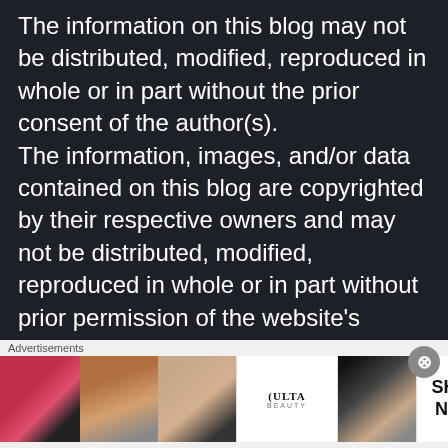The information on this blog may not be distributed, modified, reproduced in whole or in part without the prior consent of the author(s).
The information, images, and/or data contained on this blog are copyrighted by their respective owners and may not be distributed, modified, reproduced in whole or in part without prior permission of the website's respective owner(s).
Copyright © 2011-2022
thetalkingcupboard.com
[Figure (other): Advertisement banner showing Ulta Beauty makeup advertisement with lip and eye makeup images and SHOP NOW call to action]